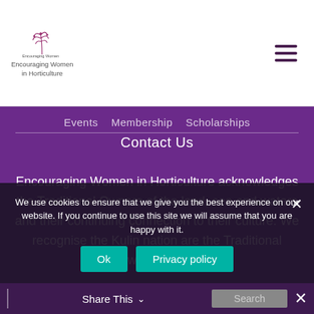Encouraging Women in Horticulture
Contact Us
Encouraging Women in Horticulture acknowledges the Traditional Owners of the land, sea and waters and their continuing connection to their culture. We recognise the Kulin nation are the Traditional Owners of the
We use cookies to ensure that we give you the best experience on our website. If you continue to use this site we will assume that you are happy with it.
Ok | Privacy policy
Share This | Search